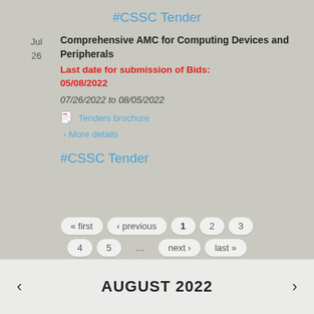#CSSC Tender
Comprehensive AMC for Computing Devices and Peripherals
Last date for submission of Bids: 05/08/2022
07/26/2022 to 08/05/2022
Tenders brochure
> More details
#CSSC Tender
« first ‹ previous 1 2 3 4 5 … next › last »
< AUGUST 2022 >